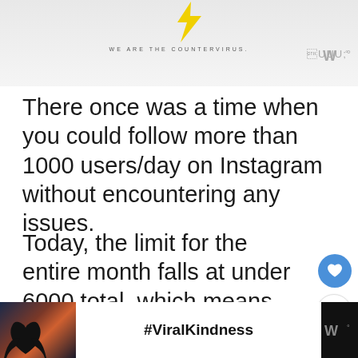[Figure (screenshot): Top banner area with partial logo/lightning bolt graphic and text 'WE ARE THE COUNTERVIRUS.' with a 'W' superscript logo at top right]
There once was a time when you could follow more than 1000 users/day on Instagram without encountering any issues.
Today, the limit for the entire month falls at under 6000 total, which means you can only follow around 180 users/day.
[Figure (screenshot): Bottom advertisement banner with dark background showing hands forming heart shape, #ViralKindness text, close X button, and W superscript logo]